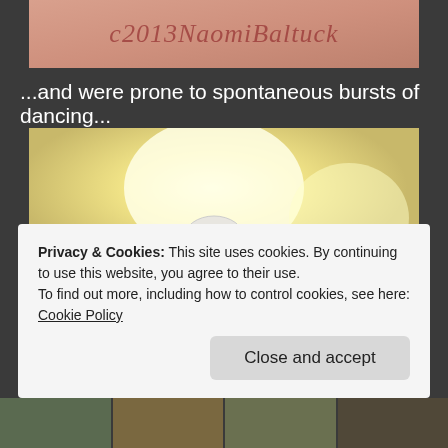[Figure (photo): Partial top photo with watermark text 'c2013NaomiBaltuck' overlaid on a reddish/pink background image]
...and were prone to spontaneous bursts of dancing...
[Figure (photo): Interior room photo looking up at ceiling with a dome light fixture, yellow and blue walls visible, corridor in background]
Privacy & Cookies: This site uses cookies. By continuing to use this website, you agree to their use.
To find out more, including how to control cookies, see here: Cookie Policy

Close and accept